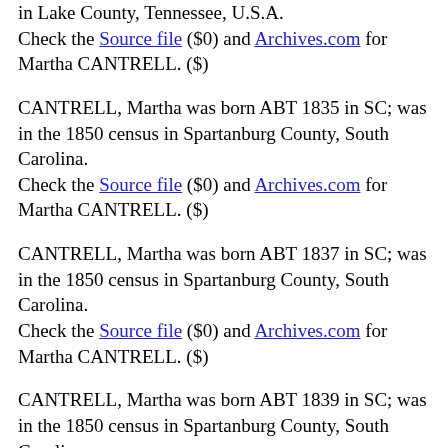in Lake County, Tennessee, U.S.A.
Check the Source file ($0) and Archives.com for Martha CANTRELL. ($)
CANTRELL, Martha was born ABT 1835 in SC; was in the 1850 census in Spartanburg County, South Carolina.
Check the Source file ($0) and Archives.com for Martha CANTRELL. ($)
CANTRELL, Martha was born ABT 1837 in SC; was in the 1850 census in Spartanburg County, South Carolina.
Check the Source file ($0) and Archives.com for Martha CANTRELL. ($)
CANTRELL, Martha was born ABT 1839 in SC; was in the 1850 census in Spartanburg County, South Carolina.
Check the Source file ($0) and Archives.com for Martha CANTRELL. ($)